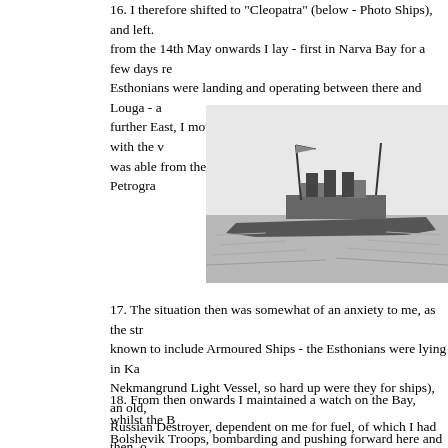16. I therefore shifted to "Cleopatra" (below - Photo Ships), and left. from the 14th May onwards I lay - first in Narva Bay for a few days re Esthonians were landing and operating between there and Louga - a further East, I moved forward to Seskar, from which place, with the v was able from the mast head to keep an effective watch on Petrogra
[Figure (photo): Black and white photograph of a naval warship at sea, showing the vessel's profile with masts, funnels, and superstructure visible above the waterline.]
17. The situation then was somewhat of an anxiety to me, as the str known to include Armoured Ships - the Esthonians were lying in Ka Nekmangrund Light Vessel, so hard up were they for ships), an old, Russian Destroyer, dependent on me for fuel, of which I had then, o consisted only of "Cleopatra" and four Destroyers, the Seventh Sub Reval.
18. From then onwards I maintained a watch on the Bay, whilst the B Bolshevik Troops, bombarding and pushing forward here and there, who needed refit, always under the direction of Admiral John Pitka, v Reval and Director of a Salvage Company, but who assumed comm and has always shown a most correct instinct for war, both on land a Majesty.